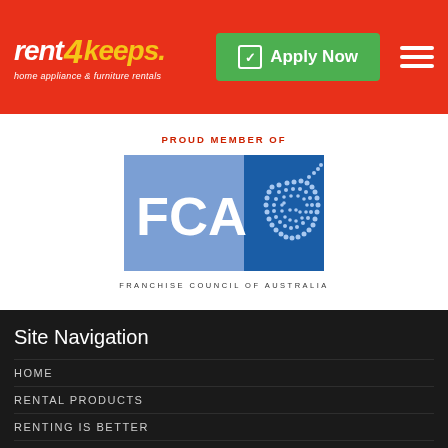[Figure (logo): Rent4Keeps logo — home appliance & furniture rentals — on red header bar with Apply Now green button and hamburger menu]
PROUD MEMBER OF
[Figure (logo): FCA – Franchise Council of Australia logo with blue and dark blue panels showing map of Australia made of dots]
FRANCHISE COUNCIL OF AUSTRALIA
Site Navigation
HOME
RENTAL PRODUCTS
RENTING IS BETTER
ABOUT US